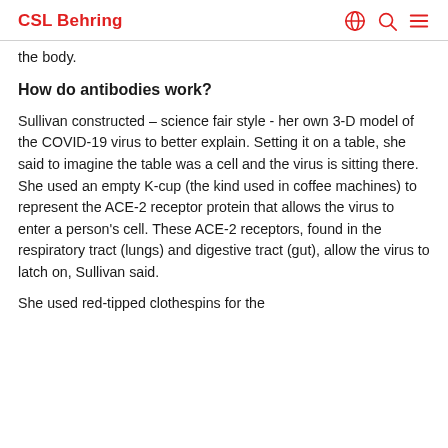CSL Behring
the body.
How do antibodies work?
Sullivan constructed – science fair style - her own 3-D model of the COVID-19 virus to better explain. Setting it on a table, she said to imagine the table was a cell and the virus is sitting there. She used an empty K-cup (the kind used in coffee machines) to represent the ACE-2 receptor protein that allows the virus to enter a person's cell. These ACE-2 receptors, found in the respiratory tract (lungs) and digestive tract (gut), allow the virus to latch on, Sullivan said.
She used red-tipped clothespins for the